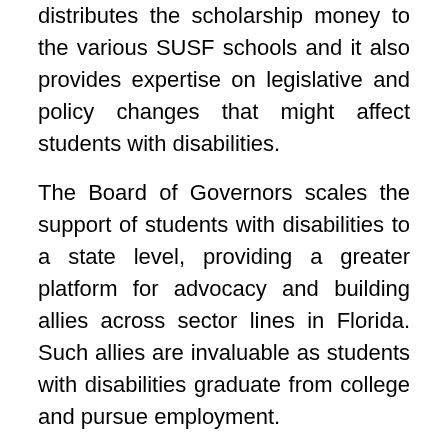distributes the scholarship money to the various SUSF schools and it also provides expertise on legislative and policy changes that might affect students with disabilities.
The Board of Governors scales the support of students with disabilities to a state level, providing a greater platform for advocacy and building allies across sector lines in Florida. Such allies are invaluable as students with disabilities graduate from college and pursue employment.
At the heart of the partnership among JSF, the Board of Governor's Office and the campus DSS is a one-day annual meeting, convened by JSF. The purpose of this meeting is to review the performance of the scholarship program, discuss